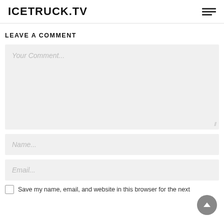ICETRUCK.TV
LEAVE A COMMENT
Your Comment...
Name...
Email...
Save my name, email, and website in this browser for the next